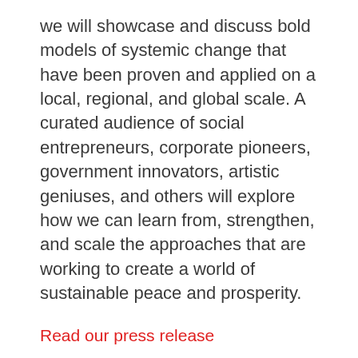we will showcase and discuss bold models of systemic change that have been proven and applied on a local, regional, and global scale. A curated audience of social entrepreneurs, corporate pioneers, government innovators, artistic geniuses, and others will explore how we can learn from, strengthen, and scale the approaches that are working to create a world of sustainable peace and prosperity.
Read our press release
See our favorite quotes of the day
Watch the panel discussions on Facebook